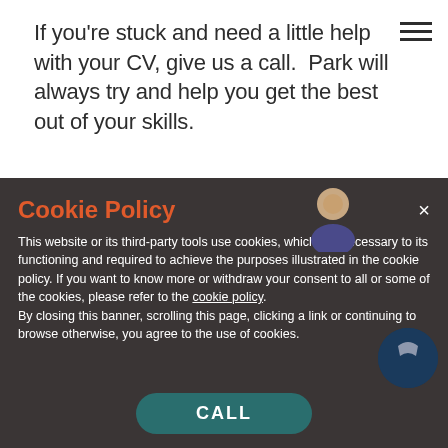If you're stuck and need a little help with your CV, give us a call.  Park will always try and help you get the best out of your skills.
Cookie Policy
This website or its third-party tools use cookies, which are necessary to its functioning and required to achieve the purposes illustrated in the cookie policy. If you want to know more or withdraw your consent to all or some of the cookies, please refer to the cookie policy. By closing this banner, scrolling this page, clicking a link or continuing to browse otherwise, you agree to the use of cookies.